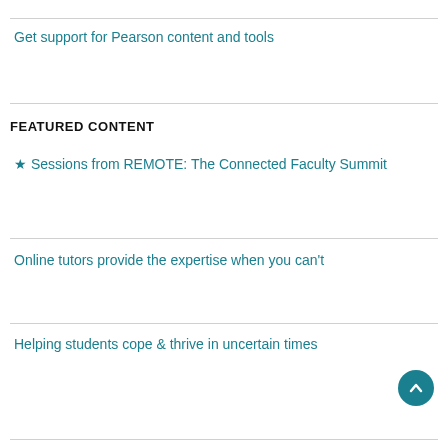Get support for Pearson content and tools
FEATURED CONTENT
★ Sessions from REMOTE: The Connected Faculty Summit
Online tutors provide the expertise when you can't
Helping students cope & thrive in uncertain times